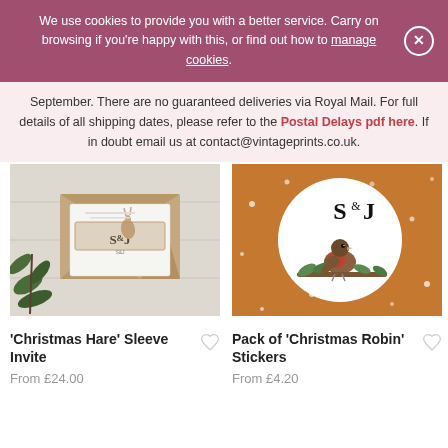We use cookies to provide you with a better service. Carry on browsing if you're happy with this, or find out how to manage cookies.
September. There are no guaranteed deliveries via Royal Mail. For full details of all shipping dates, please refer to the Postal Delays pdf here. If in doubt email us at contact@vintageprints.co.uk.
[Figure (photo): Christmas Hare Sleeve Invite product photo showing an envelope and invitation card with S&J lettering and a hare illustration on a white wooden background with pine branches]
[Figure (photo): Pack of Christmas Robin Stickers product photo showing an orange/rust coloured card with a white circular sticker featuring S&J lettering and a robin bird on a branch with leaves]
'Christmas Hare' Sleeve Invite
From £24.00
Pack of 'Christmas Robin' Stickers
From £4.20